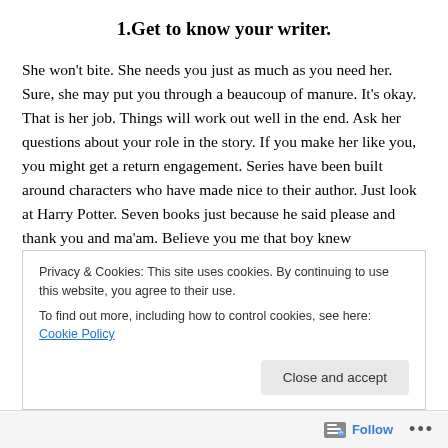1.Get to know your writer.
She won't bite. She needs you just as much as you need her. Sure, she may put you through a beaucoup of manure. It's okay. That is her job. Things will work out well in the end. Ask her questions about your role in the story. If you make her like you, you might get a return engagement. Series have been built around characters who have made nice to their author. Just look at Harry Potter. Seven books just because he said please and thank you and ma'am. Believe you me that boy knew
Privacy & Cookies: This site uses cookies. By continuing to use this website, you agree to their use.
To find out more, including how to control cookies, see here: Cookie Policy